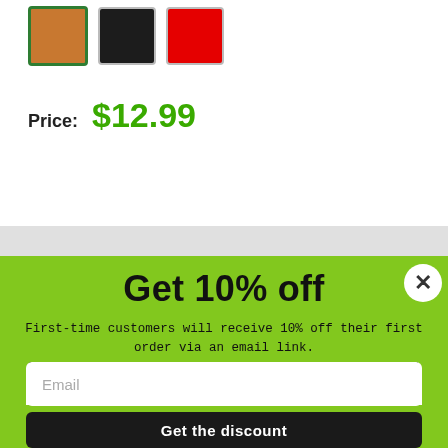[Figure (other): Three color swatches: orange (selected, green border), black, red]
Price:  $12.99
[Figure (infographic): Green popup overlay with close button (X), heading 'Get 10% off', descriptive text, name input field, email input field, and 'Get the discount' black button]